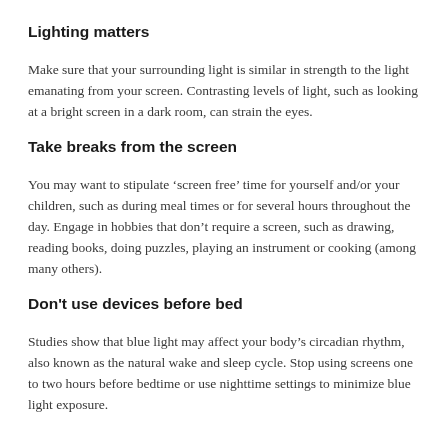Lighting matters
Make sure that your surrounding light is similar in strength to the light emanating from your screen. Contrasting levels of light, such as looking at a bright screen in a dark room, can strain the eyes.
Take breaks from the screen
You may want to stipulate ‘screen free’ time for yourself and/or your children, such as during meal times or for several hours throughout the day. Engage in hobbies that don’t require a screen, such as drawing, reading books, doing puzzles, playing an instrument or cooking (among many others).
Don't use devices before bed
Studies show that blue light may affect your body’s circadian rhythm, also known as the natural wake and sleep cycle. Stop using screens one to two hours before bedtime or use nighttime settings to minimize blue light exposure.